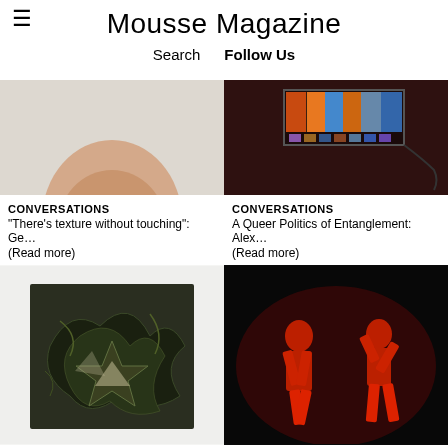Mousse Magazine
Search   Follow Us
[Figure (photo): Close-up of a human face/chin against a light grey background, cropped]
[Figure (photo): Dark maroon/brown background with a glowing screen or light strip showing colorful images, with cables visible]
CONVERSATIONS
"There's texture without touching": Ge…
(Read more)
CONVERSATIONS
A Queer Politics of Entanglement: Alex…
(Read more)
[Figure (photo): Abstract dark painting with tangled organic shapes and geometric forms on a white background, leaning against wall]
[Figure (photo): Two performers in black costumes lit by red stage lighting against a black background, in dynamic poses]